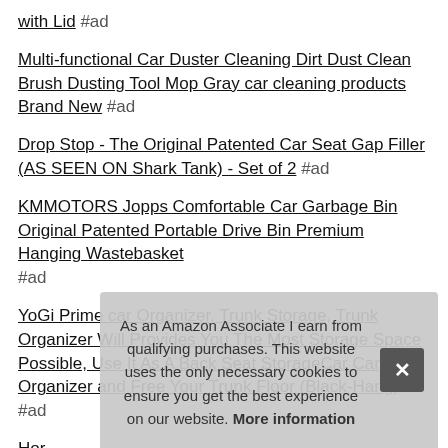with Lid #ad
Multi-functional Car Duster Cleaning Dirt Dust Clean Brush Dusting Tool Mop Gray car cleaning products Brand New #ad
Drop Stop - The Original Patented Car Seat Gap Filler (AS SEEN ON Shark Tank) - Set of 2 #ad
KMMOTORS Jopps Comfortable Car Garbage Bin Original Patented Portable Drive Bin Premium Hanging Wastebasket #ad
YoGi Prime car Organizer, Trunk Storage, Trunk Organizer Will Provides You The Most Storage Space Possible, Use It As A Back Seat StorageCar Cargo Organizer and Free Your Trunk Floor (Black-Hang) #ad
Hor...
Bag...
Buk... inch...
As an Amazon Associate I earn from qualifying purchases. This website uses the only necessary cookies to ensure you get the best experience on our website. More information